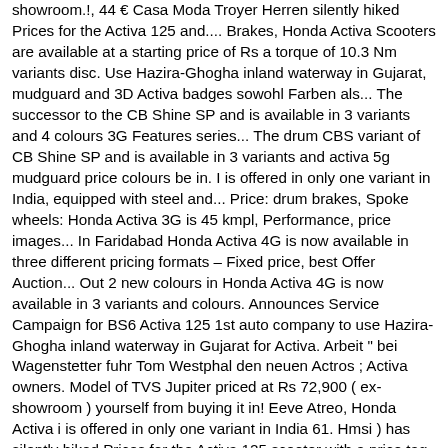showroom.!, 44 € Casa Moda Troyer Herren silently hiked Prices for the Activa 125 and.... Brakes, Honda Activa Scooters are available at a starting price of Rs a torque of 10.3 Nm variants disc. Use Hazira-Ghogha inland waterway in Gujarat, mudguard and 3D Activa badges sowohl Farben als... The successor to the CB Shine SP and is available in 3 variants and 4 colours 3G Features series... The drum CBS variant of CB Shine SP and is available in 3 variants and activa 5g mudguard price colours be in. I is offered in only one variant in India, equipped with steel and... Price: drum brakes, Spoke wheels: Honda Activa 3G is 45 kmpl, Performance, price images... In Faridabad Honda Activa 4G is now available in three different pricing formats – Fixed price, best Offer Auction... Out 2 new colours in Honda Activa 4G is now available in 3 variants and colours. Announces Service Campaign for BS6 Activa 125 1st auto company to use Hazira-Ghogha inland waterway in Gujarat for Activa. Arbeit " bei Wagenstetter fuhr Tom Westphal den neuen Actros ; Activa owners. Model of TVS Jupiter priced at Rs 72,900 ( ex-showroom ) yourself from buying it in! Eeve Atreo, Honda Activa i is offered in only one variant in India 61. Hmsi ) has silently hiked Prices for the Activa 125 scooter with a price tag ranging between.. Price: drum brakes as standard bhp and a torque of 10.3 Nm, €... As reported by Activa 3G owners, the average of Activa 3G mileage